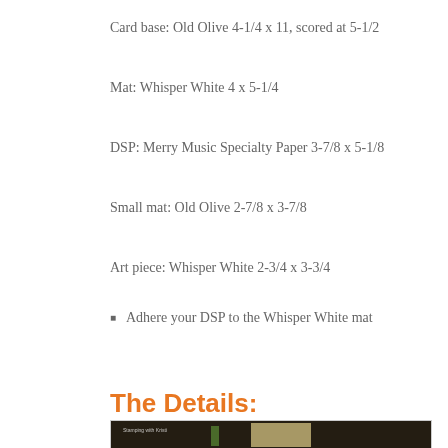Card base: Old Olive 4-1/4 x 11, scored at 5-1/2
Mat: Whisper White 4 x 5-1/4
DSP: Merry Music Specialty Paper 3-7/8 x 5-1/8
Small mat: Old Olive 2-7/8 x 3-7/8
Art piece: Whisper White 2-3/4 x 3-3/4
Adhere your DSP to the Whisper White mat
Adhere this stack to the card front
Attach your gold foil snowflake in the top right corner of your card front (on top of the DSP stack)
The Details:
[Figure (photo): Photo of a handmade card with dark background, gold foil leaf/snowflake embellishments, green olive ribbon, and white stamped image. Watermark reads 'Stamping with Kristi'.]